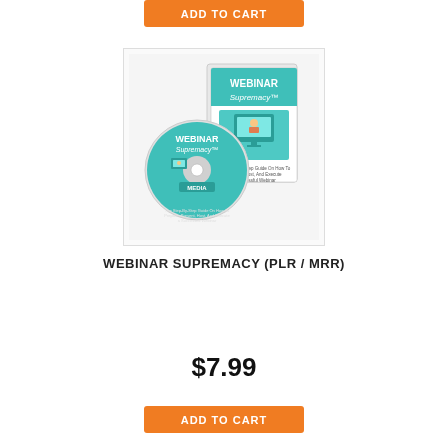ADD TO CART
[Figure (illustration): Product image showing Webinar Supremacy DVD and box set with teal/white design featuring a cartoon woman presenter on a computer screen]
WEBINAR SUPREMACY (PLR / MRR)
$7.99
ADD TO CART